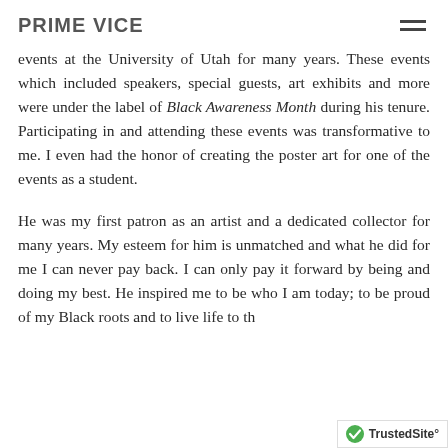PRIME VICE
events at the University of Utah for many years. These events which included speakers, special guests, art exhibits and more were under the label of Black Awareness Month during his tenure. Participating in and attending these events was transformative to me. I even had the honor of creating the poster art for one of the events as a student.
He was my first patron as an artist and a dedicated collector for many years. My esteem for him is unmatched and what he did for me I can never pay back. I can only pay it forward by being and doing my best. He inspired me to be who I am today; to be proud of my Black roots and to live life to th…